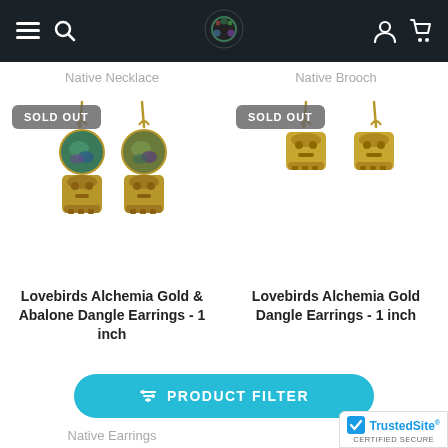Navigation bar with menu, search, logo, user, cart icons
Native Necklace
Native Brooch
[Figure (photo): Lovebirds Alchemia Gold & Abalone Dangle Earrings with SOLD OUT badge]
[Figure (photo): Lovebirds Alchemia Gold Dangle Earrings with SOLD OUT badge]
Lovebirds Alchemia Gold & Abalone Dangle Earrings - 1 inch
Lovebirds Alchemia Gold Dangle Earrings - 1 inch
Native Earrings
PRODUCT FILTER